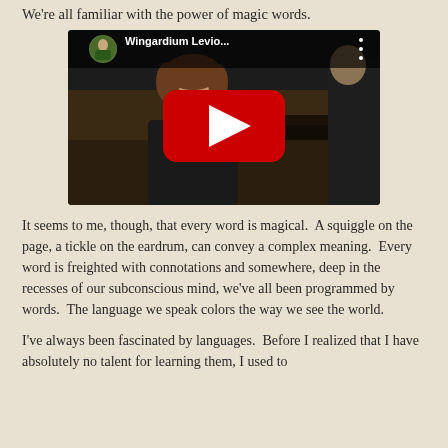We're all familiar with the power of magic words.
[Figure (screenshot): YouTube video thumbnail showing a scene from Harry Potter with a student in school robes, title 'Wingardium Levio...' with YouTube play button overlay]
It seems to me, though, that every word is magical.  A squiggle on the page, a tickle on the eardrum, can convey a complex meaning.  Every word is freighted with connotations and somewhere, deep in the recesses of our subconscious mind, we've all been programmed by words.  The language we speak colors the way we see the world.
I've always been fascinated by languages.  Before I realized that I have absolutely no talent for learning them, I used to